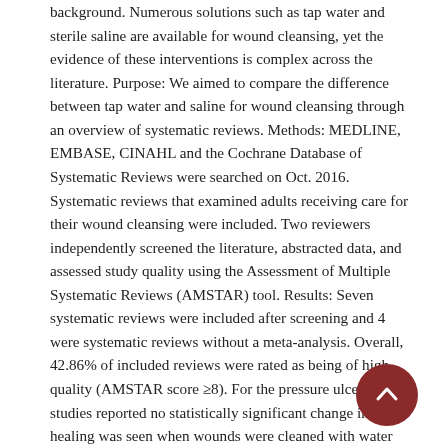background. Numerous solutions such as tap water and sterile saline are available for wound cleansing, yet the evidence of these interventions is complex across the literature. Purpose: We aimed to compare the difference between tap water and saline for wound cleansing through an overview of systematic reviews. Methods: MEDLINE, EMBASE, CINAHL and the Cochrane Database of Systematic Reviews were searched on Oct. 2016. Systematic reviews that examined adults receiving care for their wound cleansing were included. Two reviewers independently screened the literature, abstracted data, and assessed study quality using the Assessment of Multiple Systematic Reviews (AMSTAR) tool. Results: Seven systematic reviews were included after screening and 4 were systematic reviews without a meta-analysis. Overall, 42.86% of included reviews were rated as being of high quality (AMSTAR score ≥8). For the pressure ulcers, two studies reported no statistically significant change in healing was seen when wounds were cleaned with water was compared with saline. For the chronic wounds, two studies showed there was no increase in infection or in wound healing rates between patients whose wounds were cleaned with tap water or sterile saline. Finally, 4 of studies presented that the use of tap water to cleanse acute wounds in adults and children was not associated with a statistically significant difference in infection rate when